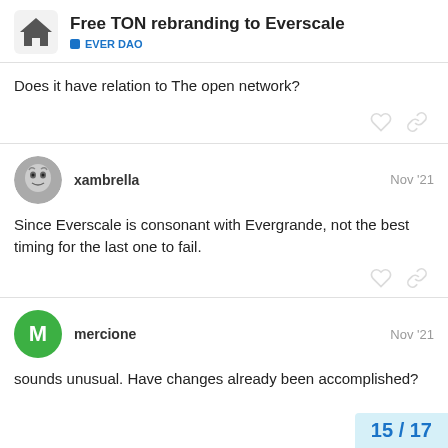Free TON rebranding to Everscale — EVER DAO
Does it have relation to The open network?
xambrella  Nov '21
Since Everscale is consonant with Evergrande, not the best timing for the last one to fail.
mercione  Nov '21
sounds unusual. Have changes already been accomplished?
15 / 17